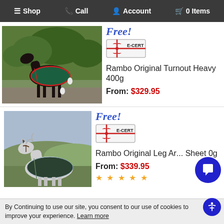Shop | Call | Account | 0 Items
[Figure (photo): Horse wearing a green turnout rug standing on a path with trees in background]
Free!
[Figure (illustration): E-CERT gift certificate badge with red bow]
Rambo Original Turnout Heavy 400g
From: $329.95
[Figure (photo): Grey horse wearing a dark green leg arnica sheet rug in a mountainous field]
Free!
[Figure (illustration): E-CERT gift certificate badge with red bow]
Rambo Original Leg Arnica Sheet 0g
From: $339.95
★ ★ ★ ★ ★
By Continuing to use our site, you consent to our use of cookies to improve your experience. Learn more